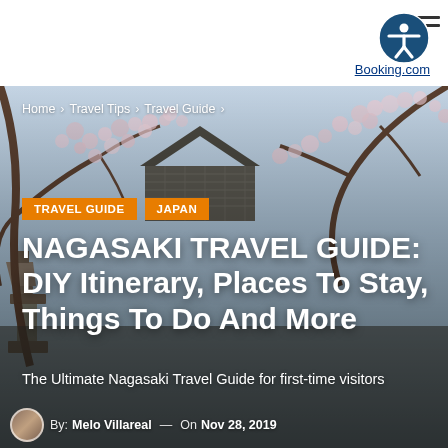[Figure (screenshot): Booking.com accessibility icon — a circle with a person symbol in white on dark blue background, with hamburger menu lines to the right]
Booking.com
Home > Travel Tips > Travel Guide >
[Figure (photo): Cherry blossom trees with Japanese castle/temple architecture visible in the background against a pale blue sky, with stone lantern in foreground]
TRAVEL GUIDE   JAPAN
NAGASAKI TRAVEL GUIDE: DIY Itinerary, Places To Stay, Things To Do And More
The Ultimate Nagasaki Travel Guide for first-time visitors
By: Melo Villareal — On Nov 28, 2019